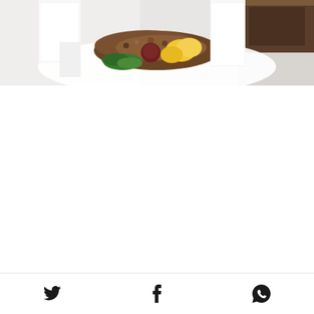[Figure (photo): A chef in white uniform presenting a plated dish with brown crumble/soil-like topping, yellow/orange food items, and green herb garnish on a white plate. The photo is cropped at the top of the page showing only the upper portion of the scene.]
[Figure (infographic): Social media sharing icons row at bottom: Twitter bird icon, Facebook F icon, WhatsApp phone icon]